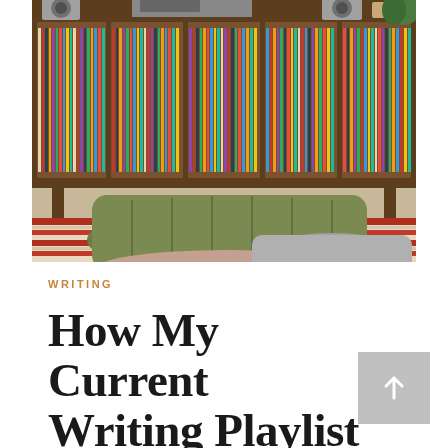[Figure (photo): A cozy room scene featuring a wooden media console/shelf filled with vinyl records, with stereo equipment on top. In the foreground, an olive green tufted floor cushion rests on a red and cream woven rag rug. A plant is visible in the upper right corner.]
WRITING
How My Current Writing Playlist Helps Me Develop